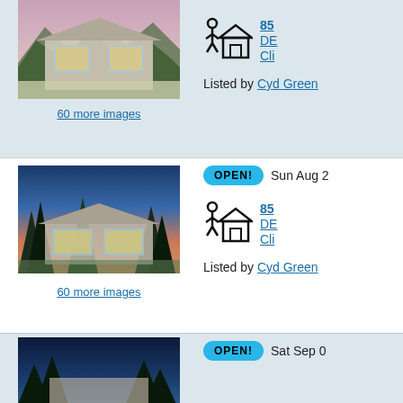[Figure (photo): Modern house with large glass windows at dusk, surrounded by frosted vegetation, hillside setting]
60 more images
[Figure (illustration): Walk score icon — person walking toward a house]
85
DE
Cli
Listed by Cyd Green
[Figure (photo): Modern house with large glass windows at twilight, surrounded by tall pine trees, hillside setting]
60 more images
OPEN!
Sun Aug 2
[Figure (illustration): Walk score icon — person walking toward a house]
85
DE
Cli
Listed by Cyd Green
[Figure (photo): House partially visible through pine trees at dusk]
OPEN!
Sat Sep 0